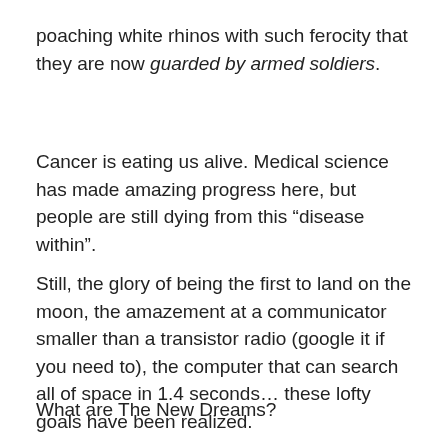poaching white rhinos with such ferocity that they are now guarded by armed soldiers.
Cancer is eating us alive. Medical science has made amazing progress here, but people are still dying from this “disease within”.
Still, the glory of being the first to land on the moon, the amazement at a communicator smaller than a transistor radio (google it if you need to), the computer that can search all of space in 1.4 seconds… these lofty goals have been realized.
What are The New Dreams?